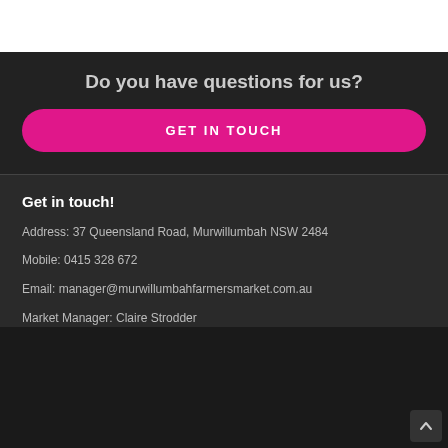Do you have questions for us?
GET IN TOUCH
Get in touch!
Address: 37 Queensland Road, Murwillumbah NSW 2484
Mobile: 0415 328 672
Email: manager@murwillumbahfarmersmarket.com.au
Market Manager: Claire Strodder